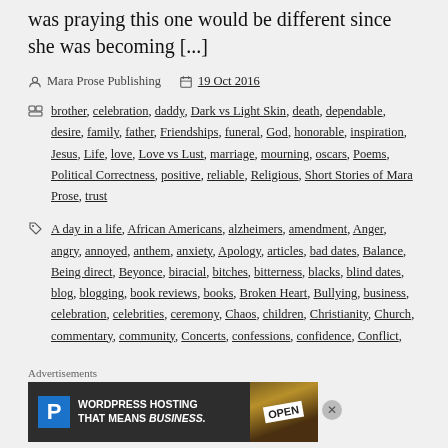was praying this one would be different since she was becoming [...]
Mara Prose Publishing   19 Oct 2016
brother, celebration, daddy, Dark vs Light Skin, death, dependable, desire, family, father, Friendships, funeral, God, honorable, inspiration, Jesus, Life, love, Love vs Lust, marriage, mourning, oscars, Poems, Political Correctness, positive, reliable, Religious, Short Stories of Mara Prose, trust
A day in a life, African Americans, alzheimers, amendment, Anger, angry, annoyed, anthem, anxiety, Apology, articles, bad dates, Balance, Being direct, Beyonce, biracial, bitches, bitterness, blacks, blind dates, blog, blogging, book reviews, books, Broken Heart, Bullying, business, celebration, celebrities, ceremony, Chaos, children, Christianity, Church, commentary, community, Concerts, confessions, confidence, Conflict,
[Figure (screenshot): WordPress Hosting That Means Business advertisement banner with blue P logo and OPEN sign photo]